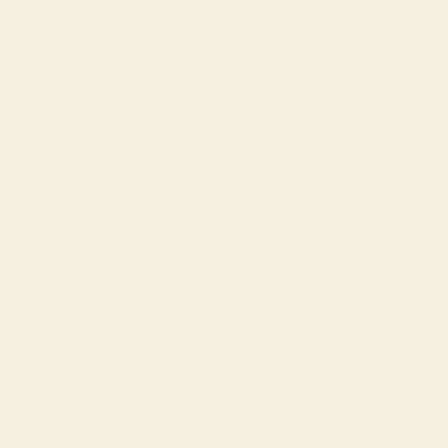His angry steede did chide his foming bitt,
As much disdayning to the curbe to yield:
Full iolly knight he seemd, and faire did sitt,
As one for knightly giusts and fierce encounters fitt.

But on his brest a bloudie Crosse he bore,
The deare remembrance of his dying Lord,
For whose sweete sake that glorious badge he wore,
And dead as liuing euer him ador'd:
Vpon his shield the like was also scor'd,
For soueraine hope, which in his helpe he had:
Right faithfull true he was in deede and word,
But of his cheere did seeme too solemne sad;
Yet nothing did he dread, but euer was ydrad.

Vpon a great aduenture he was bond,
That greatest Gloriana to him gaue,
That greatest Glorious Queene of Faerie lond,
To winne him worshippe, and her grace to haue,
Which of all earthly thinges he most did craue;
And euer as he rode, his hart did earne
To proue his puissance in battell braue
Vpon his foe, and his new force to learne;
Vpon his foe, a Dragon horrible and stearne.

A louely Ladie rode him faire beside,
Vpon a lowly Asse more white then snow,